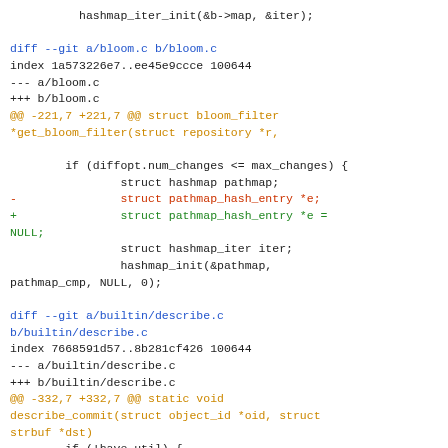hashmap_iter_init(&b->map, &iter);
diff --git a/bloom.c b/bloom.c
index 1a573226e7..ee45e9ccce 100644
--- a/bloom.c
+++ b/bloom.c
@@ -221,7 +221,7 @@ struct bloom_filter
*get_bloom_filter(struct repository *r,

        if (diffopt.num_changes <= max_changes) {
                struct hashmap pathmap;
-               struct pathmap_hash_entry *e;
+               struct pathmap_hash_entry *e =
NULL;
                struct hashmap_iter iter;
                hashmap_init(&pathmap,
pathmap_cmp, NULL, 0);
diff --git a/builtin/describe.c
b/builtin/describe.c
index 7668591d57..8b281cf426 100644
--- a/builtin/describe.c
+++ b/builtin/describe.c
@@ -332,7 +332,7 @@ static void
describe_commit(struct object_id *oid, struct
strbuf *dst)
        if (!have_util) {
                struct hashmap_iter iter;
                struct commit *c;
                struct commit_name *n;